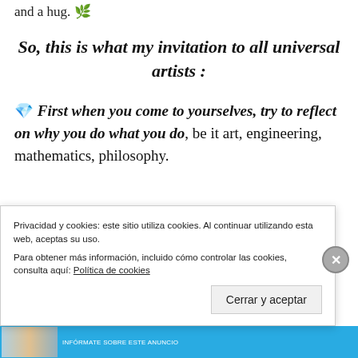and a hug. 🌿
So, this is what my invitation to all universal artists :
💎 First when you come to yourselves, try to reflect on why you do what you do, be it art, engineering, mathematics, philosophy.
Privacidad y cookies: este sitio utiliza cookies. Al continuar utilizando esta web, aceptas su uso.
Para obtener más información, incluido cómo controlar las cookies, consulta aquí: Política de cookies
Cerrar y aceptar